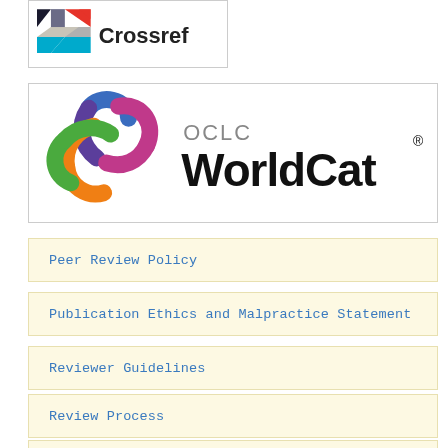[Figure (logo): Crossref logo with colorful geometric shapes and 'Crossref' text]
[Figure (logo): OCLC WorldCat logo with colorful swirl and 'OCLC WorldCat' text]
Peer Review Policy
Publication Ethics and Malpractice Statement
Reviewer Guidelines
Review Process
Plagiarism Policy